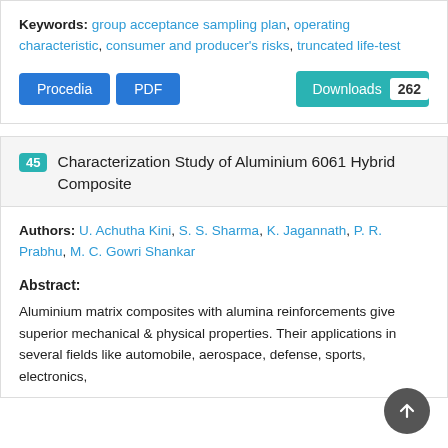Keywords: group acceptance sampling plan, operating characteristic, consumer and producer's risks, truncated life-test
Procedia | PDF | Downloads 262
45 Characterization Study of Aluminium 6061 Hybrid Composite
Authors: U. Achutha Kini, S. S. Sharma, K. Jagannath, P. R. Prabhu, M. C. Gowri Shankar
Abstract:
Aluminium matrix composites with alumina reinforcements give superior mechanical & physical properties. Their applications in several fields like automobile, aerospace, defense, sports, electronics,